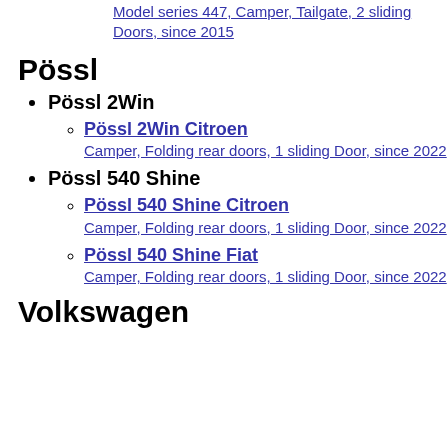Model series 447, Camper, Tailgate, 2 sliding Doors, since 2015
Pössl
Pössl 2Win
Pössl 2Win Citroen
Camper, Folding rear doors, 1 sliding Door, since 2022
Pössl 540 Shine
Pössl 540 Shine Citroen
Camper, Folding rear doors, 1 sliding Door, since 2022
Pössl 540 Shine Fiat
Camper, Folding rear doors, 1 sliding Door, since 2022
Volkswagen